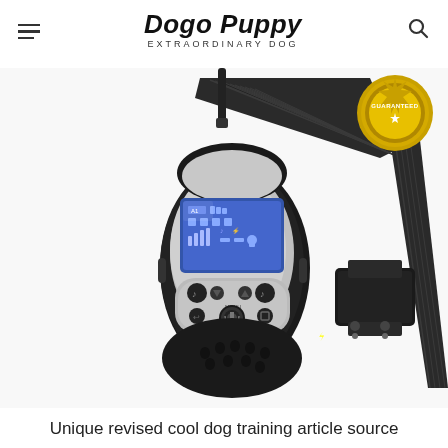Dogo Puppy — EXTRAORDINARY DOG
[Figure (photo): Dog training remote collar product photo showing a handheld remote controller with LCD screen and buttons alongside a black nylon adjustable dog collar with contact points. A gold 'Guaranteed' seal badge is visible in the upper right corner.]
Unique revised cool dog training article source